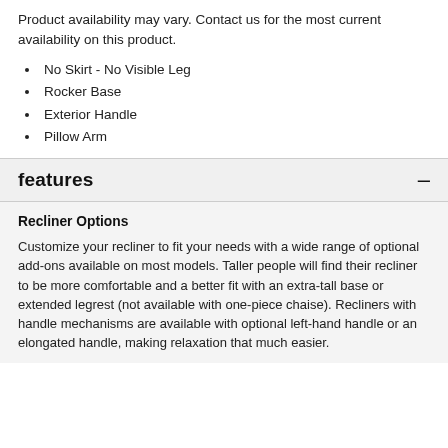Product availability may vary. Contact us for the most current availability on this product.
No Skirt - No Visible Leg
Rocker Base
Exterior Handle
Pillow Arm
features
Recliner Options
Customize your recliner to fit your needs with a wide range of optional add-ons available on most models. Taller people will find their recliner to be more comfortable and a better fit with an extra-tall base or extended legrest (not available with one-piece chaise). Recliners with handle mechanisms are available with optional left-hand handle or an elongated handle, making relaxation that much easier.